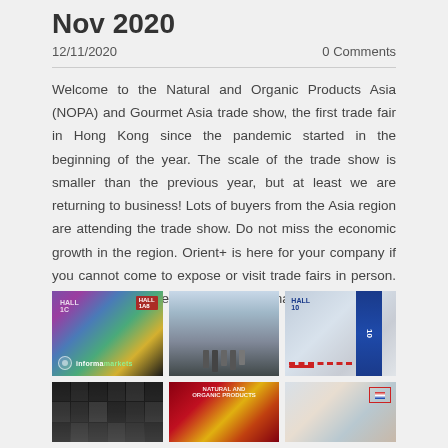Nov 2020
12/11/2020   0 Comments
Welcome to the Natural and Organic Products Asia (NOPA) and Gourmet Asia trade show, the first trade fair in Hong Kong since the pandemic started in the beginning of the year. The scale of the trade show is smaller than the previous year, but at least we are returning to business! Lots of buyers from the Asia region are attending the trade show. Do not miss the economic growth in the region. Orient+ is here for your company if you cannot come to expose or visit trade fairs in person. Drop us a message to get more information!
[Figure (photo): Trade show hall with colorful decorative wall and Informa Markets logo]
[Figure (photo): Interior of trade show convention center hall with people walking]
[Figure (photo): Entrance area of convention hall 10 with blue pillar and rope barriers]
[Figure (photo): Dark view of trade show exhibition booth area]
[Figure (photo): Red and gold trade show signage for Natural and Organic Products]
[Figure (photo): Trade show floor with flag displayed]